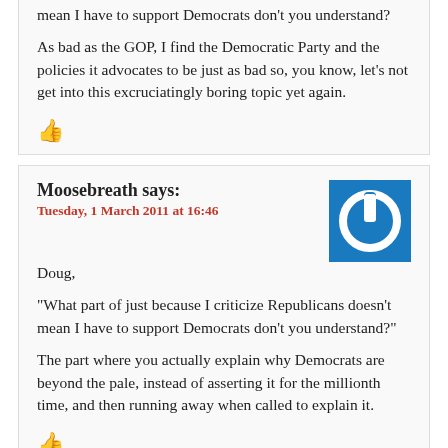mean I have to support Democrats don't you understand?
As bad as the GOP, I find the Democratic Party and the policies it advocates to be just as bad so, you know, let's not get into this excruciatingly boring topic yet again.
[Figure (other): Thumbs up icon in red/dark red]
Moosebreath says:
Tuesday, 1 March 2011 at 16:46
[Figure (logo): Blue square with white power button icon]
Doug,
“What part of just because I criticize Republicans doesn’t mean I have to support Democrats don’t you understand?”
The part where you actually explain why Democrats are beyond the pale, instead of asserting it for the millionth time, and then running away when called to explain it.
[Figure (other): Thumbs up icon in red/dark red]